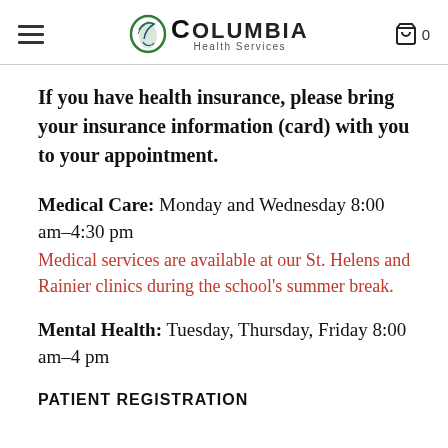Columbia Health Services
If you have health insurance, please bring your insurance information (card) with you to your appointment.
Medical Care: Monday and Wednesday 8:00 am–4:30 pm
Medical services are available at our St. Helens and Rainier clinics during the school's summer break.
Mental Health: Tuesday, Thursday, Friday 8:00 am–4 pm
PATIENT REGISTRATION